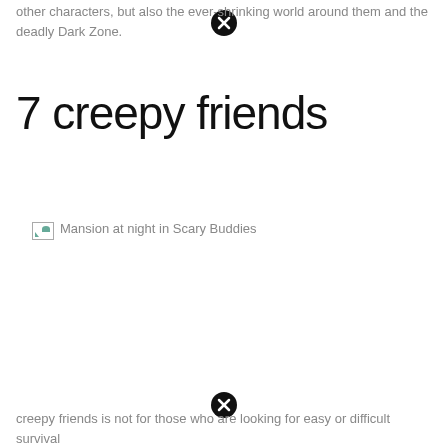other characters, but also the ever-shrinking world around them and the deadly Dark Zone.
7 creepy friends
[Figure (photo): Broken image placeholder for 'Mansion at night in Scary Buddies']
Mansion at night in Scary Buddies
creepy friends is not for those who are looking for easy or difficult survival